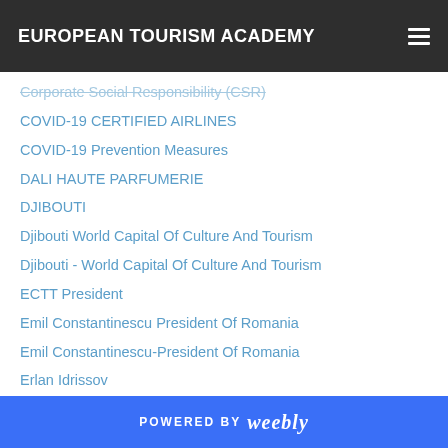EUROPEAN TOURISM ACADEMY
Corporate Social Responsibility (CSR)
COVID-19 CERTIFIED AIRLINES
COVID-19 Prevention Measures
DALI HAUTE PARFUMERIE
DJIBOUTI
Djibouti World Capital Of Culture And Tourism
Djibouti - World Capital Of Culture And Tourism
ECTT President
Emil Constantinescu President Of Romania
Emil Constantinescu-President Of Romania
Erlan Idrissov
Ethic Tourism
Ethiopia Favorite Cultural Destination
Ethiopia-Favorite Cultural Destination
Ethiopia World Best Tourist Destination
Ethiopia-World Best Tourist Destination
POWERED BY weebly